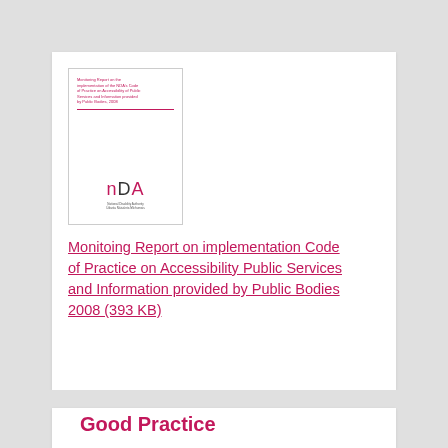[Figure (other): Thumbnail image of a report cover. Shows small pink text at top reading 'Monitoring Report on the implementation of the NDA's Code of Practice on Accessibility of Public Services and Information provided by Public Bodies, 2008', a pink horizontal divider line, and an NDA logo at the bottom center.]
Monitoing Report on implementation Code of Practice on Accessibility Public Services and Information provided by Public Bodies 2008 (393 KB)
Good Practice